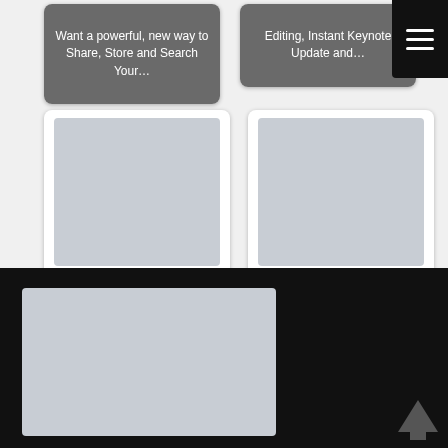[Figure (screenshot): Card with label 'Want a powerful, new way to Share, Store and Search Your...' on dark overlay]
[Figure (screenshot): Card with label 'Editing, Instant Keynote Update and...' on dark overlay]
[Figure (screenshot): Card with grey image placeholder and label 'Project Browser Search - Revit 2013']
[Figure (screenshot): Card with grey image placeholder and label 'Search all major Revit blogs at once']
[Figure (screenshot): Large grey rectangle in lower black section, arrow-up icon bottom right]